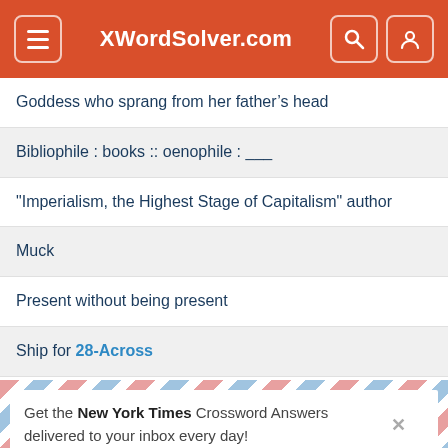XWordSolver.com
Goddess who sprang from her father's head
Bibliophile : books :: oenophile : ___
"Imperialism, the Highest Stage of Capitalism" author
Muck
Present without being present
Ship for 28-Across
Like a space cadet
Part of the body named after Dr. Ernst Gräfenberg
Accustomed (to)
On edibles, say
A shore thing
Get the New York Times Crossword Answers delivered to your inbox every day!
Your Email Address